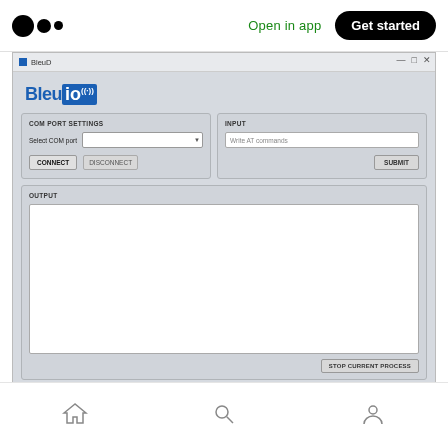Open in app  Get started
[Figure (screenshot): BleuIO desktop application screenshot showing COM PORT SETTINGS panel with Select COM port dropdown and CONNECT/DISCONNECT buttons, INPUT panel with 'Write AT commands' text field and SUBMIT button, and OUTPUT panel with empty white area and STOP CURRENT PROCESS button]
Home  Search  Profile navigation icons